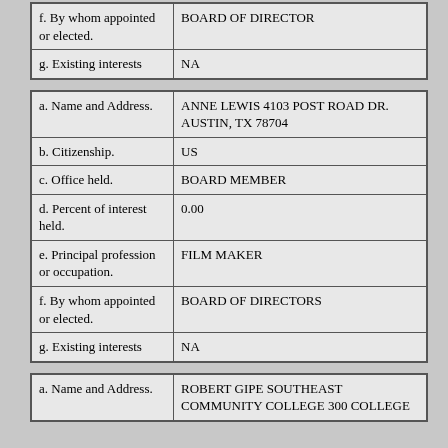| f. By whom appointed or elected. | BOARD OF DIRECTOR |
| g. Existing interests | NA |
| a. Name and Address. | ANNE LEWIS 4103 POST ROAD DR. AUSTIN, TX 78704 |
| b. Citizenship. | US |
| c. Office held. | BOARD MEMBER |
| d. Percent of interest held. | 0.00 |
| e. Principal profession or occupation. | FILM MAKER |
| f. By whom appointed or elected. | BOARD OF DIRECTORS |
| g. Existing interests | NA |
| a. Name and Address. | ROBERT GIPE SOUTHEAST COMMUNITY COLLEGE 300 COLLEGE ... |